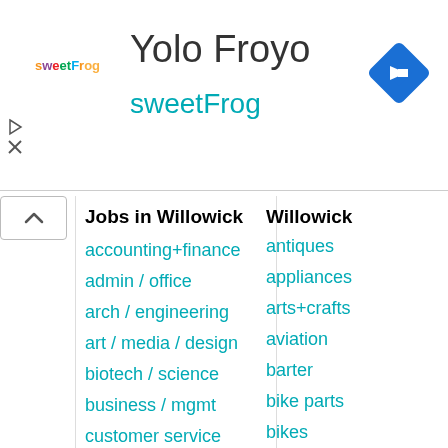[Figure (other): Advertisement banner for Yolo Froyo / sweetFrog frozen yogurt with logo, navigation arrow icon, and small ad control icons]
Jobs in Willowick
accounting+finance
admin / office
arch / engineering
art / media / design
biotech / science
business / mgmt
customer service
education
general labor
government
human resources
Willowick
antiques
appliances
arts+crafts
aviation
barter
bike parts
bikes
boats
books
business
cars
cds/dvd/vhs
cell phones